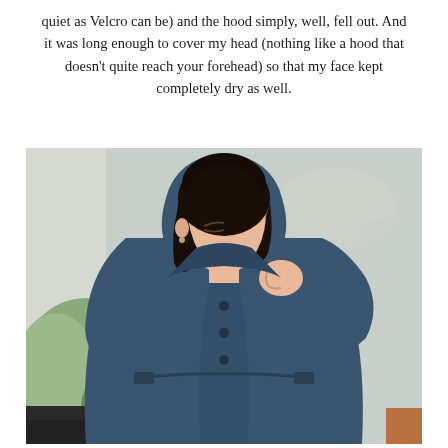quiet as Velcro can be) and the hood simply, well, fell out. And it was long enough to cover my head (nothing like a hood that doesn't quite reach your forehead) so that my face kept completely dry as well.
[Figure (photo): A young woman with dark hair wearing a navy blue raincoat with a hood, smiling and adjusting the collar/hood with her hand. Green plants and a blurred outdoor garden background visible behind her.]